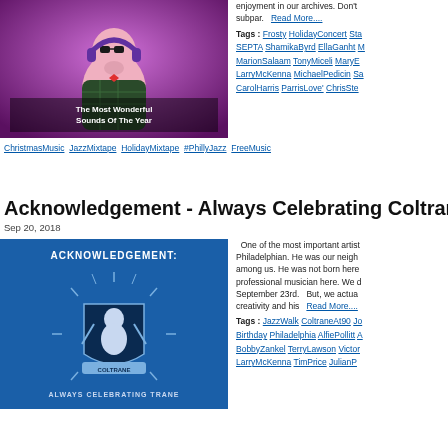[Figure (photo): A vinyl toy figurine with headphones and sunglasses set against a purple background, with text overlay 'The Most Wonderful Sounds Of The Year']
enjoyment in our archives. Don't subpar.   Read More....
Tags : Frosty HolidayConcert Sta SEPTA ShamikaByrd EllaGanht MarionSalaam TonyMiceli MaryE LarryMcKenna MichaelPedicin Sa CarolHarris ParrisLove' ChrisSte
ChristmasMusic JazzMixtape HolidayMixtape #PhillyJazz FreeMusic
Acknowledgement - Always Celebrating Coltrane
Sep 20, 2018
[Figure (illustration): Blue poster with 'ACKNOWLEDGEMENT:' text at top, decorative emblem with Coltrane silhouette and instruments, subtitle 'ALWAYS CELEBRATING TRANE']
One of the most important artist Philadelphian. He was our neigh among us. He was not born here professional musician here. We d September 23rd.   But, we actua creativity and his   Read More....
Tags : JazzWalk ColtraneAt90 Jo Birthday Philadelphia AlfiePollitt BobbyZankel TerryLawson Victor LarryMcKenna TimPrice JulianP